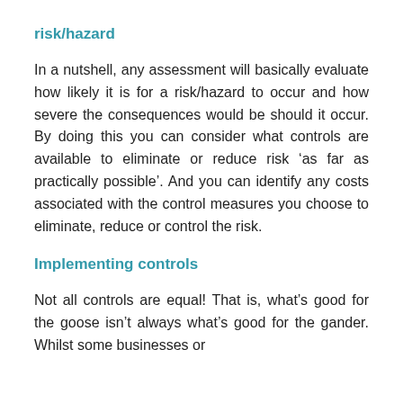risk/hazard
In a nutshell, any assessment will basically evaluate how likely it is for a risk/hazard to occur and how severe the consequences would be should it occur. By doing this you can consider what controls are available to eliminate or reduce risk ‘as far as practically possible’. And you can identify any costs associated with the control measures you choose to eliminate, reduce or control the risk.
Implementing controls
Not all controls are equal! That is, what’s good for the goose isn’t always what’s good for the gander. Whilst some businesses or